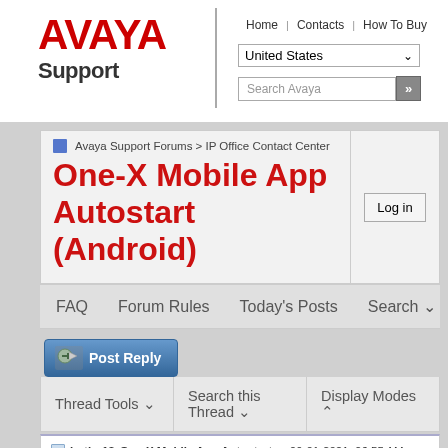[Figure (logo): Avaya logo in red with 'Support' text below and vertical bar divider]
Home | Contacts | How To Buy | United States | Search Avaya
Avaya Support Forums > IP Office Contact Center
One-X Mobile App Autostart (Android)
Log in
FAQ   Forum Rules   Today's Posts   Search
[Figure (screenshot): Post Reply button with icon]
Thread Tools  Search this Thread  Display Modes
butler13 One-X Mobile App Autostart... 09-01-2021, 06:55 AM
mlombardi1 I'm not an Android user so I... 09-01-2021, 11:43 AM
butler13 I tried Boot Apps and that... 09-08-2021, 07:35 AM